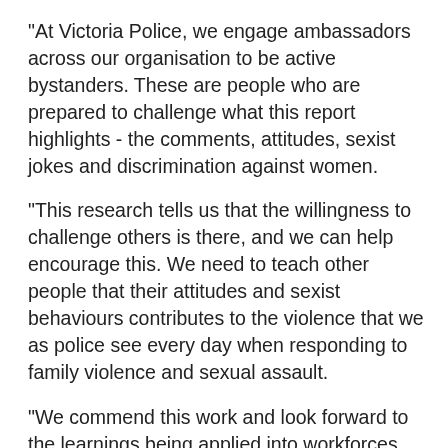"At Victoria Police, we engage ambassadors across our organisation to be active bystanders. These are people who are prepared to challenge what this report highlights - the comments, attitudes, sexist jokes and discrimination against women.
"This research tells us that the willingness to challenge others is there, and we can help encourage this. We need to teach other people that their attitudes and sexist behaviours contributes to the violence that we as police see every day when responding to family violence and sexual assault.
"We commend this work and look forward to the learnings being applied into workforces such as ours which are traditionally male dominated, and where we can actively contribute to mobilising bystanders."
Key findings: